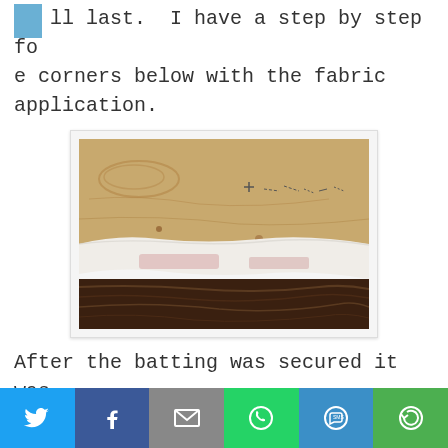at last. I have a step by step for the corners below with the fabric application.
[Figure (photo): Photo of white batting/padding material laid on a wooden floor surface, showing the edge of the batting against light wood and dark wood flooring.]
After the batting was secured it was time to add the fabric. I also cut the fabric with a 4-inch margin on all sides. I started by stapling the ends first - I fold my fabric if it's not
Social sharing bar with Twitter, Facebook, Email, WhatsApp, SMS, and More buttons